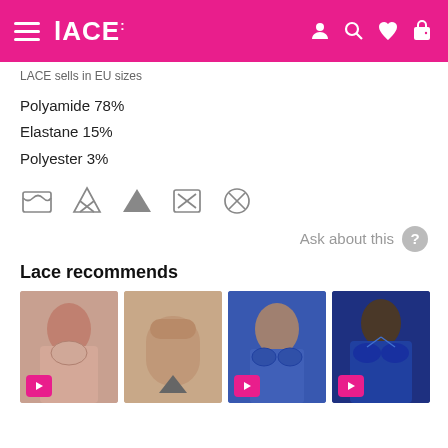LACE: (logo header with navigation icons)
LACE sells in EU sizes
Polyamide 78%
Elastane 15%
Polyester 3%
[Figure (other): Care label icons: wash, do not bleach, tumble dry, do not iron, do not dry clean]
Ask about this
Lace recommends
[Figure (photo): Four product thumbnail images showing lingerie: pink bra on plus-size model, pink high-waist brief, blue bra and brief set on model, blue bra on model. Three have pink play button overlays.]